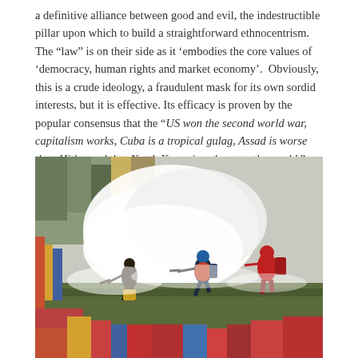a definitive alliance between good and evil, the indestructible pillar upon which to build a straightforward ethnocentrism. The “law” is on their side as it ‘embodies the core values of ‘democracy, human rights and market economy’. Obviously, this is a crude ideology, a fraudulent mask for its own sordid interests, but it is effective. Its efficacy is proven by the popular consensus that the “US won the second world war, capitalism works, Cuba is a tropical gulag, Assad is worse than Hitler and that North Korea is a threat to the world.”
[Figure (photo): Artistic photo/painting hybrid showing three silhouetted soldiers or armed figures running through smoke and haze, with a colorful painted background featuring reds, blues, yellows and greens suggestive of urban conflict or war art.]